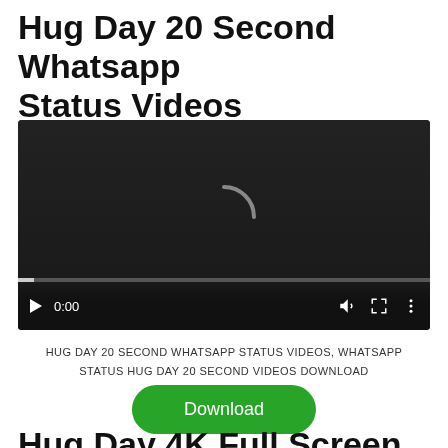Hug Day 20 Second Whatsapp Status Videos
[Figure (screenshot): Video player with dark background showing a loading spinner, video controls bar with play button, timestamp 0:00, volume icon, fullscreen icon, and menu icon. Progress bar at bottom.]
HUG DAY 20 SECOND WHATSAPP STATUS VIDEOS, WHATSAPP STATUS HUG DAY 20 SECOND VIDEOS DOWNLOAD
Download
Hug Day 4K Full Screen Status